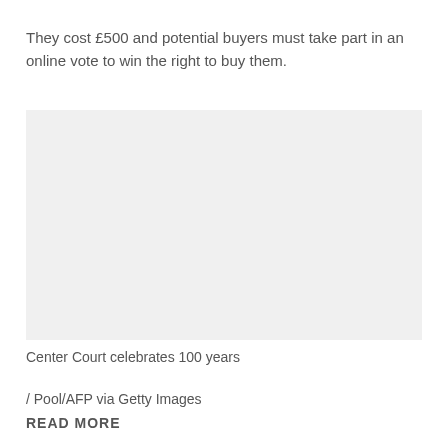They cost £500 and potential buyers must take part in an online vote to win the right to buy them.
[Figure (photo): Image placeholder area, likely a photo of Center Court at Wimbledon]
Center Court celebrates 100 years
/ Pool/AFP via Getty Images
READ MORE